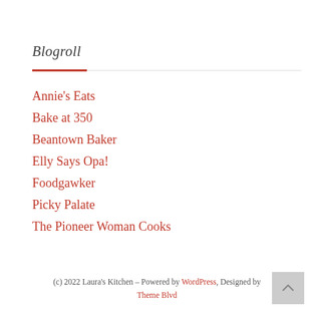Blogroll
Annie's Eats
Bake at 350
Beantown Baker
Elly Says Opa!
Foodgawker
Picky Palate
The Pioneer Woman Cooks
(c) 2022 Laura's Kitchen – Powered by WordPress, Designed by Theme Blvd